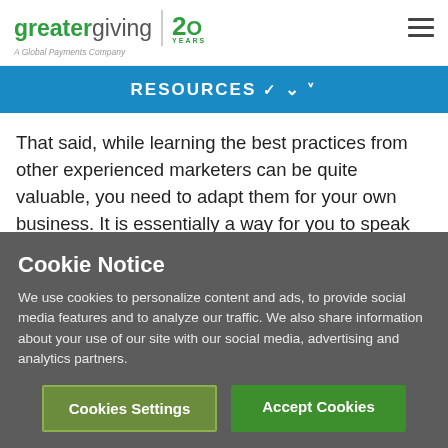greatergiving | 20 YEARS — A Global Payments Company
RESOURCES ▾
That said, while learning the best practices from other experienced marketers can be quite valuable, you need to adapt them for your own business. It is essentially a way for you to speak directly to your current and prospective audience, and allow them to share your mission amongst
Cookie Notice
We use cookies to personalize content and ads, to provide social media features and to analyze our traffic. We also share information about your use of our site with our social media, advertising and analytics partners.